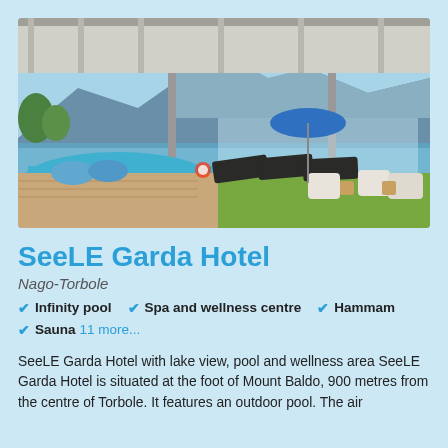[Figure (photo): Outdoor pool area of SeeLE Garda Hotel with lounge chairs under a retractable awning, blue umbrella, mountains and lake in background]
SeeLE Garda Hotel
Nago-Torbole
Infinity pool
Spa and wellness centre
Hammam
Sauna  11 more...
SeeLE Garda Hotel with lake view, pool and wellness area SeeLE Garda Hotel is situated at the foot of Mount Baldo, 900 metres from the centre of Torbole. It features an outdoor pool. The air